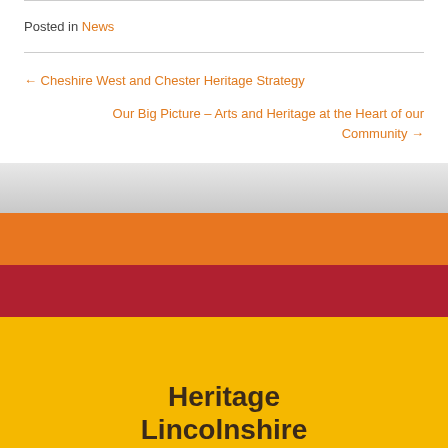Posted in News
← Cheshire West and Chester Heritage Strategy
Our Big Picture – Arts and Heritage at the Heart of our Community →
Heritage Lincolnshire